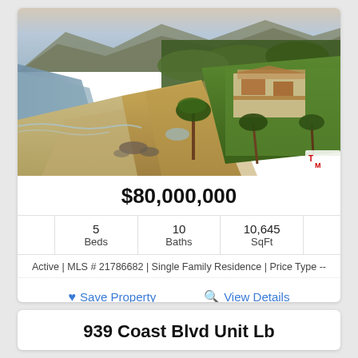[Figure (photo): Aerial photograph of a luxury coastal estate with cliffs, sandy beach, ocean, mountains in background, lush green lawns and palm trees]
$80,000,000
|  | Beds | Baths | SqFt |  |
| --- | --- | --- | --- | --- |
|  | 5 | 10 | 10,645 |  |
Active | MLS # 21786682 | Single Family Residence | Price Type --
Save Property   View Details
939 Coast Blvd Unit Lb